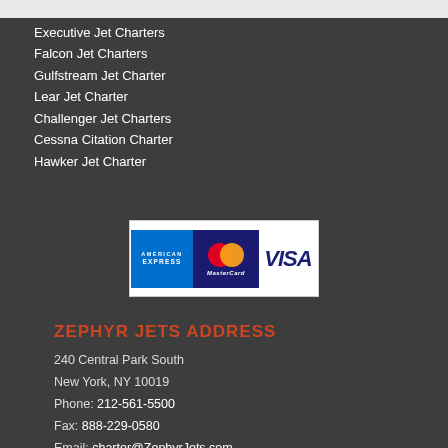Executive Jet Charters
Falcon Jet Charters
Gulfstream Jet Charter
Lear Jet Charter
Challenger Jet Charters
Cessna Citation Charter
Hawker Jet Charter
[Figure (logo): Payment logos: American Express, MasterCard, VISA]
ZEPHYR JETS ADDRESS
240 Central Park South
New York, NY 10019
Phone: 212-561-5500
Fax: 888-229-0580
Email: charter@ZephyrJets.com